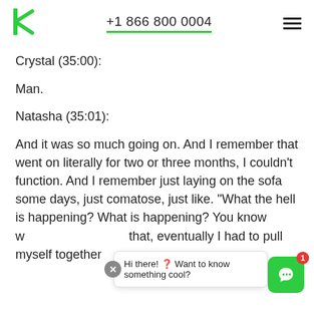+1 866 800 0004
Crystal (35:00):
Man.
Natasha (35:01):
And it was so much going on. And I remember that went on literally for two or three months, I couldn't function. And I remember just laying on the sofa some days, just comatose, just like. "What the hell is happening? What is happening? You know what, and eventually I had to pull myself together